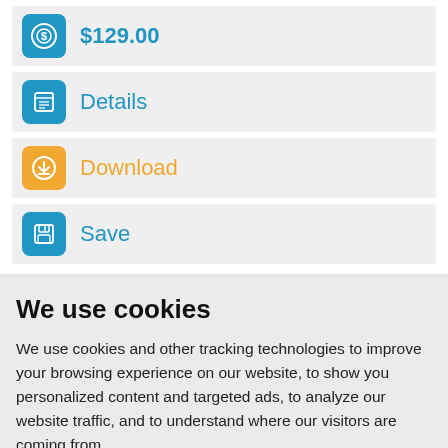$129.00
Details
Download
Save
We use cookies
We use cookies and other tracking technologies to improve your browsing experience on our website, to show you personalized content and targeted ads, to analyze our website traffic, and to understand where our visitors are coming from.
I agree  Change my preferences